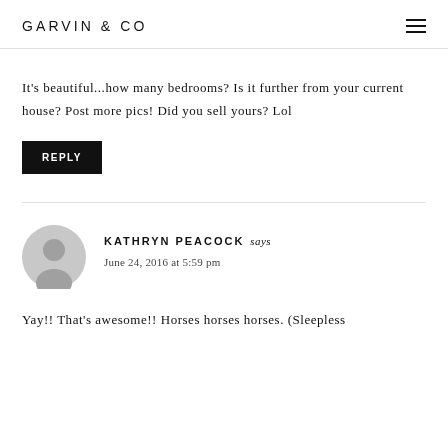GARVIN & CO
It's beautiful...how many bedrooms? Is it further from your current house? Post more pics! Did you sell yours? Lol
REPLY
KATHRYN PEACOCK says
June 24, 2016 at 5:59 pm
Yay!! That's awesome!! Horses horses horses. (Sleepless